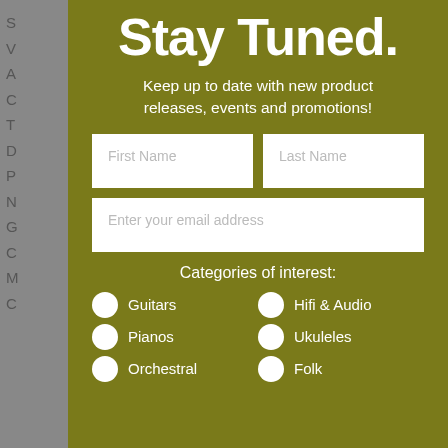Stay Tuned.
Keep up to date with new product releases, events and promotions!
First Name | Last Name | Enter your email address
Categories of interest:
Guitars
Hifi & Audio
Pianos
Ukuleles
Orchestral
Folk